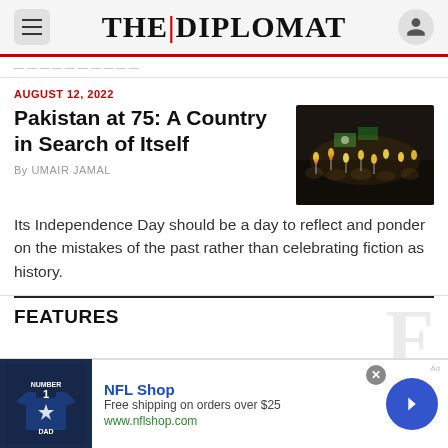THE DIPLOMAT
AUGUST 12, 2022
Pakistan at 75: A Country in Search of Itself
By UMAIR JAMAL
[Figure (photo): People holding candles with Pakistani flags at night celebration]
Its Independence Day should be a day to reflect and ponder on the mistakes of the past rather than celebrating fiction as history.
FEATURES
[Figure (other): Advertisement: NFL Shop - Free shipping on orders over $25, www.nflshop.com]